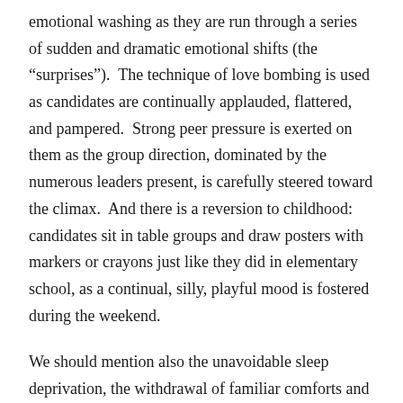emotional washing as they are run through a series of sudden and dramatic emotional shifts (the “surprises”).  The technique of love bombing is used as candidates are continually applauded, flattered, and pampered.  Strong peer pressure is exerted on them as the group direction, dominated by the numerous leaders present, is carefully steered toward the climax.  And there is a reversion to childhood:  candidates sit in table groups and draw posters with markers or crayons just like they did in elementary school, as a continual, silly, playful mood is fostered during the weekend.
We should mention also the unavoidable sleep deprivation, the withdrawal of familiar comforts and supports (no cell phones, only strangers in your table group, etc.), the loss of time consciousness (windows are covered, watches are confiscated, and no schedule is published), sensory over-stimulation (hugging, back rubs, close physical contact with strangers), and sometimes even dietary